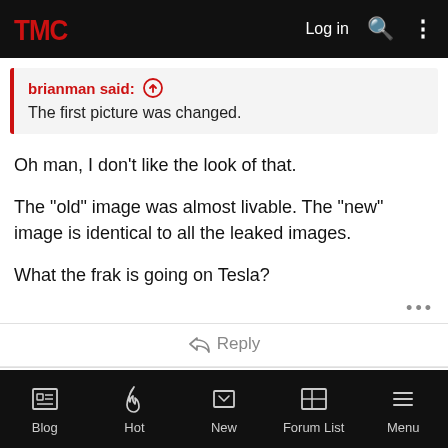TMC — Log in
brianman said: ↑
The first picture was changed.
Oh man, I don't like the look of that.
The "old" image was almost livable. The "new" image is identical to all the leaked images.
What the frak is going on Tesla?
Reply
Blog  Hot  New  Forum List  Menu